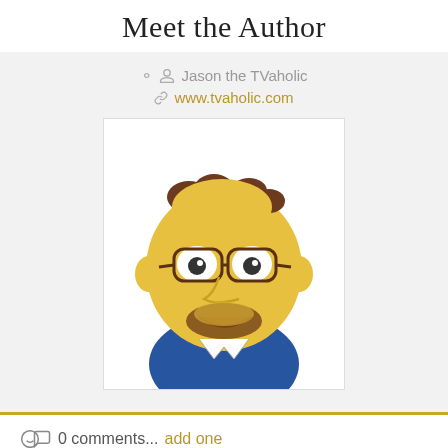Meet the Author
Jason the TVaholic
www.tvaholic.com
[Figure (illustration): Cartoon avatar of Jason the TVaholic — a Simpsons-style character with yellow skin, glasses, brown hair, and a blue shirt]
0 comments... add one
Leave a Comment
Name *